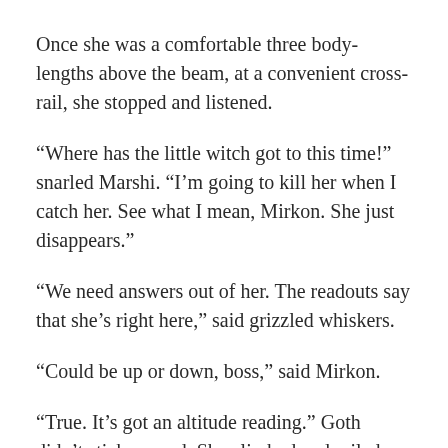Once she was a comfortable three body-lengths above the beam, at a convenient cross-rail, she stopped and listened.
“Where has the little witch got to this time!” snarled Marshi. “I’m going to kill her when I catch her. See what I mean, Mirkon. She just disappears.”
“We need answers out of her. The readouts say that she’s right here,” said grizzled whiskers.
“Could be up or down, boss,” said Mirkon.
“True. It’s got an altitude reading.” Goth didn’t stick around. She climbed and railed along, and then dropped down to the fanderbag section. Fanderbags were loveable and huge. Especially